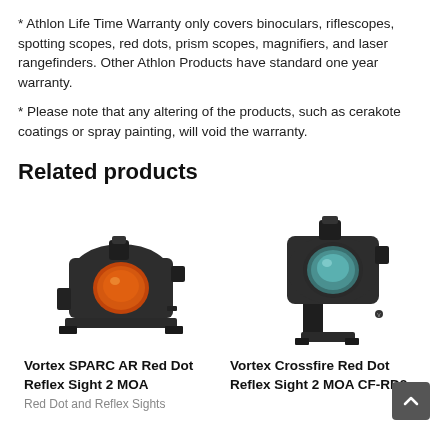* Athlon Life Time Warranty only covers binoculars, riflescopes, spotting scopes, red dots, prism scopes, magnifiers, and laser rangefinders. Other Athlon Products have standard one year warranty.
* Please note that any altering of the products, such as cerakote coatings or spray painting, will void the warranty.
Related products
[Figure (photo): Vortex SPARC AR Red Dot Reflex Sight 2 MOA — black compact red dot sight with orange lens on mounting rail]
Vortex SPARC AR Red Dot Reflex Sight 2 MOA
Red Dot and Reflex Sights
[Figure (photo): Vortex Crossfire Red Dot Reflex Sight 2 MOA CF-RD2 — black compact red dot sight with teal/blue lens on tall mounting rail]
Vortex Crossfire Red Dot Reflex Sight 2 MOA CF-RD2